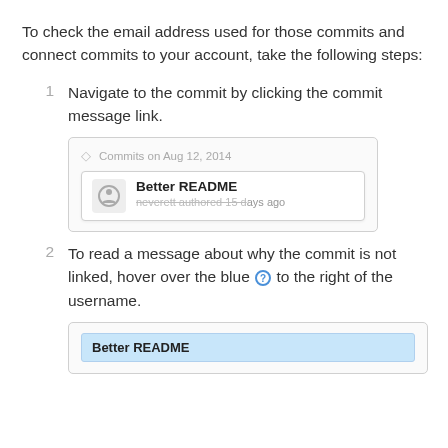To check the email address used for those commits and connect commits to your account, take the following steps:
Navigate to the commit by clicking the commit message link.
[Figure (screenshot): Screenshot of a GitHub commit list showing 'Commits on Aug 12, 2014' header with a commit entry titled 'Better README' by neverett authored 15 days ago]
To read a message about why the commit is not linked, hover over the blue ? to the right of the username.
[Figure (screenshot): Screenshot showing a GitHub commit entry 'Better README' highlighted in blue, partially visible at the bottom of the page]